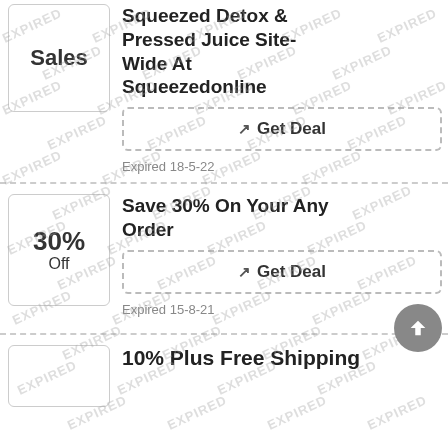[Figure (other): Sales badge icon - box with bold text 'Sales']
Grab Over 8% Squeezed Detox & Pressed Juice Site-Wide At Squeezedonline
Get Deal
Expired 18-5-22
[Figure (other): 30% Off discount badge]
Save 30% On Your Any Order
Get Deal
Expired 15-8-21
10% Plus Free Shipping